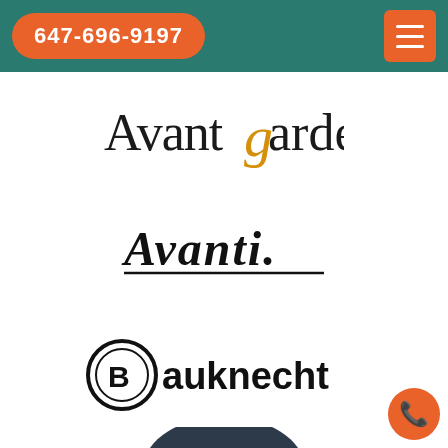647-696-9197
[Figure (logo): Avantgarde logo — black sans-serif text with a gold/amber italic 'g']
[Figure (logo): Avanti logo — black script/cursive text with underline]
[Figure (logo): Bauknecht logo — bold black text with a circular emblem on the left]
[Figure (logo): Beaumark logo — dark navy semicircle arch above the word Beaumark in serif font]